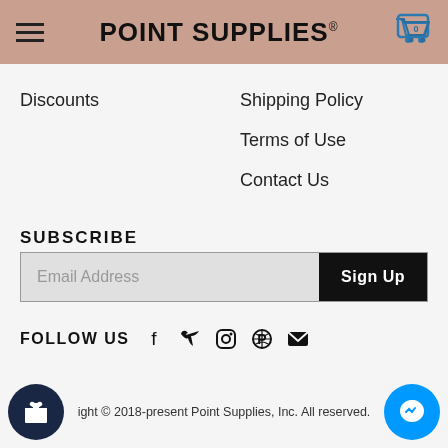POINT SUPPLIES®
Discounts
Shipping Policy
Terms of Use
Contact Us
SUBSCRIBE
Email Address   Sign Up
FOLLOW US
Copyright © 2018-present Point Supplies, Inc. All rights reserved.